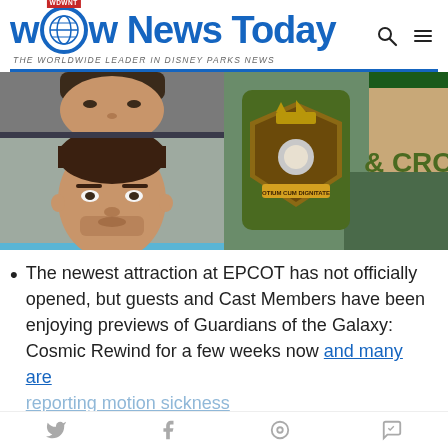WDW News Today — THE WORLDWIDE LEADER IN DISNEY PARKS NEWS
[Figure (photo): Left column: two cropped mugshot-style photos of a dark-haired man (top: partial face; bottom: full face, light blue shirt). Right column: a pub or restaurant sign with a crown and shield emblem reading 'OTIUM CUM DIGNITATE' and partial text '& CRO']
The newest attraction at EPCOT has not officially opened, but guests and Cast Members have been enjoying previews of Guardians of the Galaxy: Cosmic Rewind for a few weeks now and many are reporting motion sickness
Social share icons: Twitter, Facebook, Pinterest, Messenger